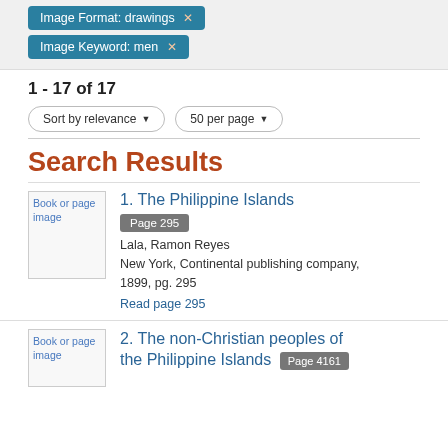Image Format: drawings ×
Image Keyword: men ×
1 - 17 of 17
Sort by relevance ▾
50 per page ▾
Search Results
1. The Philippine Islands
Page 295
Lala, Ramon Reyes
New York, Continental publishing company, 1899, pg. 295
Read page 295
2. The non-Christian peoples of the Philippine Islands
Page 4161